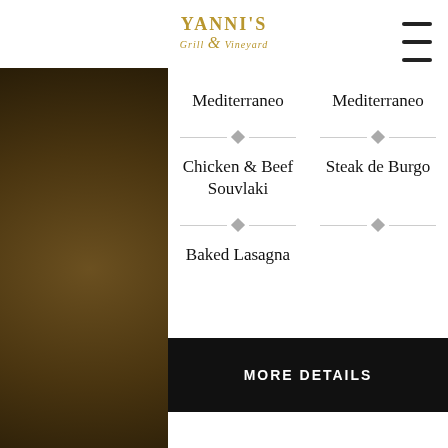YANNI'S Grill & Vineyard
Mediterraneo
Mediterraneo
Chicken & Beef Souvlaki
Steak de Burgo
Baked Lasagna
MORE DETAILS